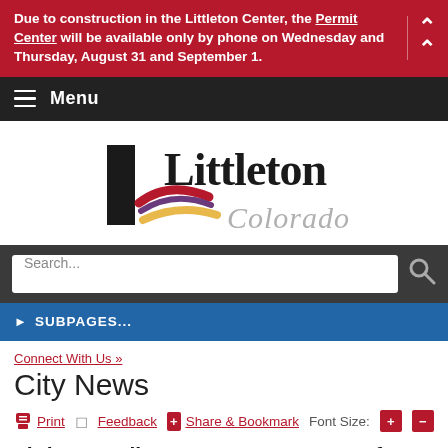Due to construction in the Littleton Center, the Permit Center will be available only by phone on Wednesday and Thursday, August 31 and September 1.
Menu
[Figure (logo): Littleton Colorado city logo with stylized L and swoosh marks in black, red, and gold]
Search...
SUBPAGES...
Connect With Us »
City News
Print  Feedback  Share & Bookmark  Font Size:  +  -
Littleton Police Department Warns of Increase in Crime involving Straw Ham...